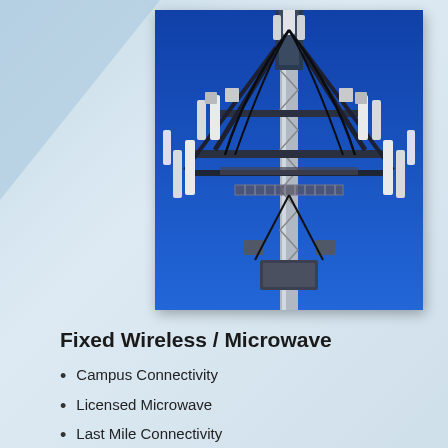[Figure (photo): Upward-looking photograph of a telecommunications tower with multiple antenna panels and microwave dishes mounted on steel cross-arms against a bright blue sky.]
Fixed Wireless / Microwave
Campus Connectivity
Licensed Microwave
Last Mile Connectivity